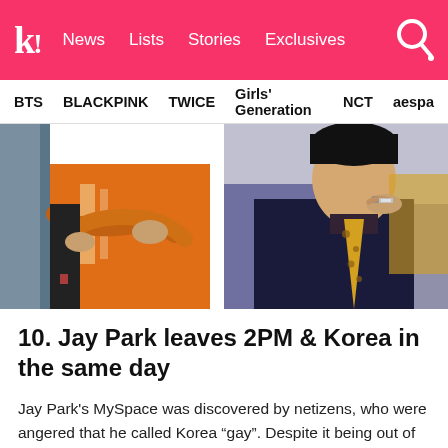k! News  Lists  Stories  Exclusives
BTS  BLACKPINK  TWICE  Girls' Generation  NCT  aespa
[Figure (photo): Two side-by-side photos: left shows a person in an orange jacket with arms crossed, right shows a person in a dark suit with a yellow tie, resting chin on hand]
10. Jay Park leaves 2PM & Korea in the same day
Jay Park's MySpace was discovered by netizens, who were angered that he called Korea "gay". Despite it being out of frustration and loneliness, he was ostracized. The public...